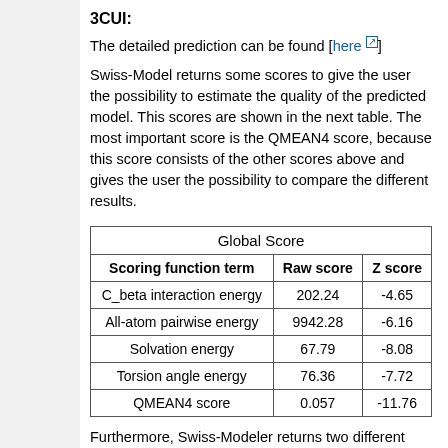3CUI:
The detailed prediction can be found [here]
Swiss-Model returns some scores to give the user the possibility to estimate the quality of the predicted model. This scores are shown in the next table. The most important score is the QMEAN4 score, because this score consists of the other scores above and gives the user the possibility to compare the different results.
| Scoring function term | Raw score | Z score |
| --- | --- | --- |
| C_beta interaction energy | 202.24 | -4.65 |
| All-atom pairwise energy | 9942.28 | -6.16 |
| Solvation energy | 67.79 | -8.08 |
| Torsion angle energy | 76.36 | -7.72 |
| QMEAN4 score | 0.057 | -11.76 |
Furthermore, Swiss-Modeler returns two different structure predictions, one of the